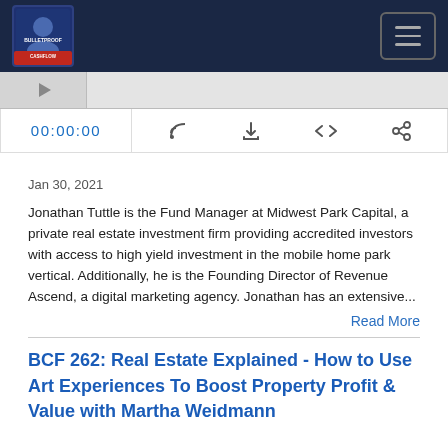[Figure (screenshot): Navigation bar with podcast logo (Bulletproof Cashflow) on left and hamburger menu button on right, dark navy background]
[Figure (screenshot): Audio player with thumbnail on left, progress bar, timestamp 00:00:00 in blue, and control icons: RSS feed, download, embed code, and share]
Jan 30, 2021
Jonathan Tuttle is the Fund Manager at Midwest Park Capital, a private real estate investment firm providing accredited investors with access to high yield investment in the mobile home park vertical. Additionally, he is the Founding Director of Revenue Ascend, a digital marketing agency. Jonathan has an extensive...
Read More
BCF 262: Real Estate Explained - How to Use Art Experiences To Boost Property Profit & Value with Martha Weidmann